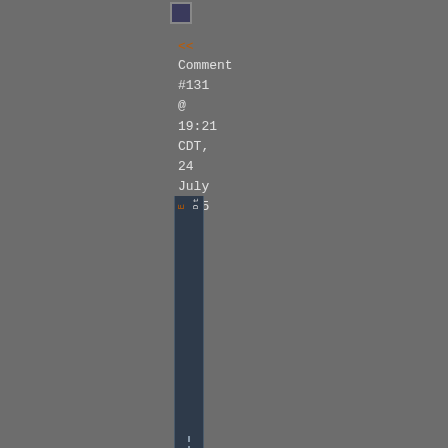[Figure (screenshot): Small icon/button at top center]
<< Comment #131 @ 19:21 CDT, 24 July 2005 >>
[Figure (screenshot): Vertical dark panel with rotated text characters and dashed line running vertically]